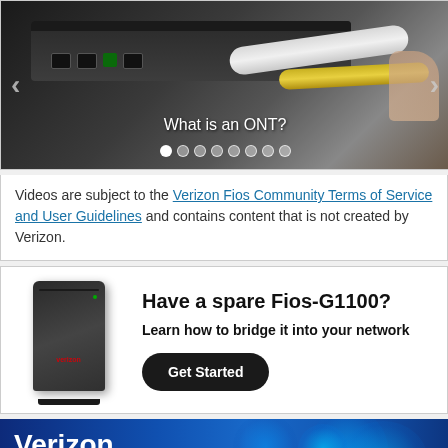[Figure (screenshot): Screenshot of a video player/slideshow showing a router/ONT device with cables, navigation arrows on left and right, title 'What is an ONT?' and pagination dots below]
Videos are subject to the Verizon Fios Community Terms of Service and User Guidelines and contains content that is not created by Verizon.
[Figure (infographic): Advertisement showing a black Fios-G1100 router image on the left, with headline 'Have a spare Fios-G1100? Learn how to bridge it into your network' and a 'Get Started' button]
[Figure (logo): Verizon branded banner at the bottom with blue background and glowing blue virus/cell imagery on the right, showing 'Verizon' text in white]